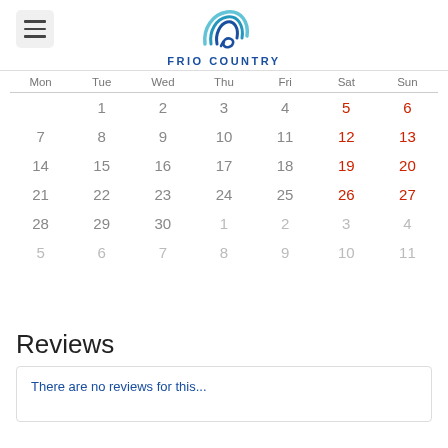FRIO COUNTRY
| Mon | Tue | Wed | Thu | Fri | Sat | Sun |
| --- | --- | --- | --- | --- | --- | --- |
|  | 1 | 2 | 3 | 4 | 5 | 6 |
| 7 | 8 | 9 | 10 | 11 | 12 | 13 |
| 14 | 15 | 16 | 17 | 18 | 19 | 20 |
| 21 | 22 | 23 | 24 | 25 | 26 | 27 |
| 28 | 29 | 30 | 1 | 2 | 3 | 4 |
| 5 | 6 | 7 | 8 | 9 | 10 | 11 |
Reviews
There are no reviews for this...